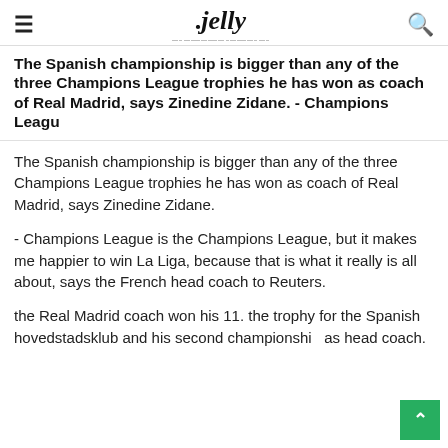jelly
The Spanish championship is bigger than any of the three Champions League trophies he has won as coach of Real Madrid, says Zinedine Zidane. - Champions Leagu
The Spanish championship is bigger than any of the three Champions League trophies he has won as coach of Real Madrid, says Zinedine Zidane.
- Champions League is the Champions League, but it makes me happier to win La Liga, because that is what it really is all about, says the French head coach to Reuters.
the Real Madrid coach won his 11. the trophy for the Spanish hovedstadsklub and his second championship as head coach.